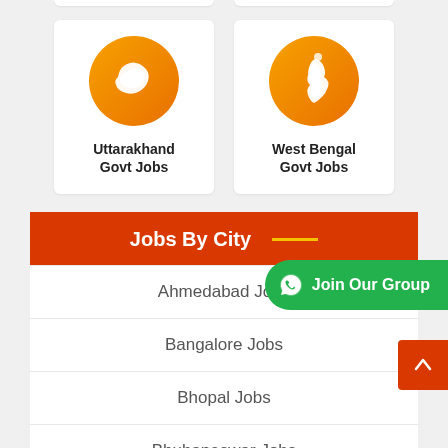[Figure (illustration): Uttarakhand state map silhouette on orange circle, card for Uttarakhand Govt Jobs]
Uttarakhand
Govt Jobs
[Figure (illustration): West Bengal state map silhouette on orange circle, card for West Bengal Govt Jobs]
West Bengal
Govt Jobs
Jobs By City ___
Ahmedabad Jobs
Bangalore Jobs
Bhopal Jobs
Bhubaneswar Jobs
Chennai Jobs
Delhi Jobs